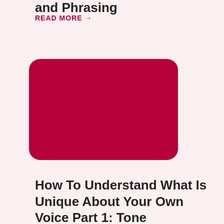and Phrasing
READ MORE →
[Figure (illustration): Red rounded rectangle serving as a decorative image placeholder]
How To Understand What Is Unique About Your Own Voice Part 1: Tone